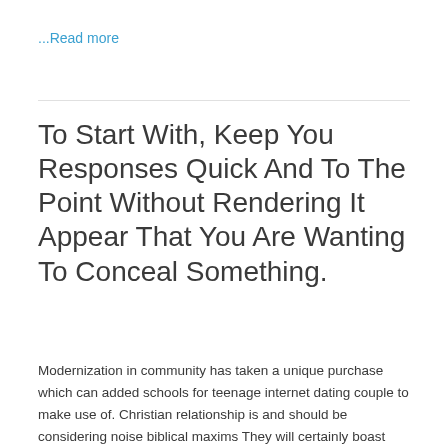...Read more
To Start With, Keep You Responses Quick And To The Point Without Rendering It Appear That You Are Wanting To Conceal Something.
Modernization in community has taken a unique purchase which can added schools for teenage internet dating couple to make use of. Christian relationship is and should be considering noise biblical maxims They will certainly boast